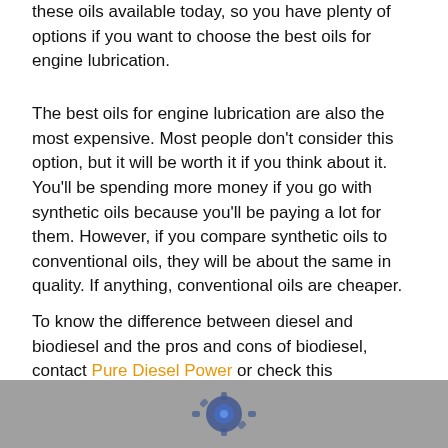these oils available today, so you have plenty of options if you want to choose the best oils for engine lubrication.
The best oils for engine lubrication are also the most expensive. Most people don't consider this option, but it will be worth it if you think about it. You'll be spending more money if you go with synthetic oils because you'll be paying a lot for them. However, if you compare synthetic oils to conventional oils, they will be about the same in quality. If anything, conventional oils are cheaper.
To know the difference between diesel and biodiesel and the pros and cons of biodiesel, contact Pure Diesel Power or check this infographic for more information.
[Figure (photo): Bottom strip showing a partial image of an engine or mechanical component against a gray background]